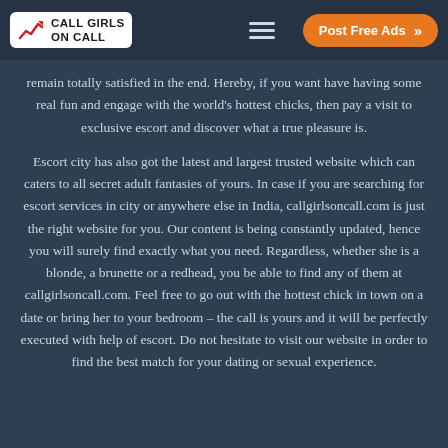CALL GIRLS ON CALL | Post Free Ads
remain totally satisfied in the end. Hereby, if you want have having some real fun and engage with the world's hottest chicks, then pay a visit to exclusive escort and discover what a true pleasure is.
Escort city has also got the latest and largest trusted website which can caters to all secret adult fantasies of yours. In case if you are searching for escort services in city or anywhere else in India, callgirlsoncall.com is just the right website for you. Our content is being constantly updated, hence you will surely find exactly what you need. Regardless, whether she is a blonde, a brunette or a redhead, you be able to find any of them at callgirlsoncall.com. Feel free to go out with the hottest chick in town on a date or bring her to your bedroom – the call is yours and it will be perfectly executed with help of escort. Do not hesitate to visit our website in order to find the best match for your dating or sexual experience.